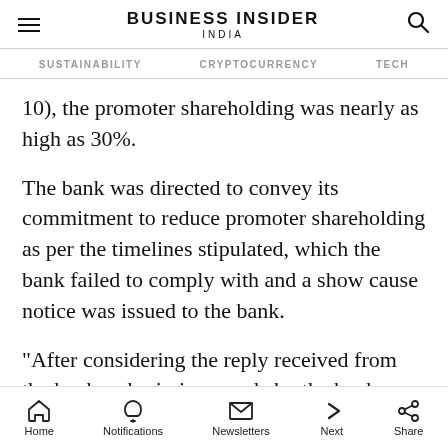BUSINESS INSIDER INDIA
SUSTAINABILITY   CRYPTOCURRENCY   TECH
10), the promoter shareholding was nearly as high as 30%.
The bank was directed to convey its commitment to reduce promoter shareholding as per the timelines stipulated, which the bank failed to comply with and a show cause notice was issued to the bank.
"After considering the reply received from the bank, submissions made by the bank during
Home   Notifications   Newsletters   Next   Share